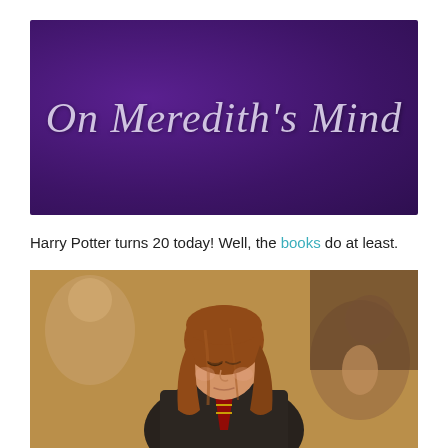[Figure (illustration): Blog header banner with dark purple background and decorative script text reading 'On Meredith's Mind']
Harry Potter turns 20 today! Well, the books do at least.
[Figure (photo): Young girl with long reddish-brown hair looking down, wearing a dark robe with a striped tie, resembling Hermione Granger from Harry Potter. Background is blurred with warm tones.]